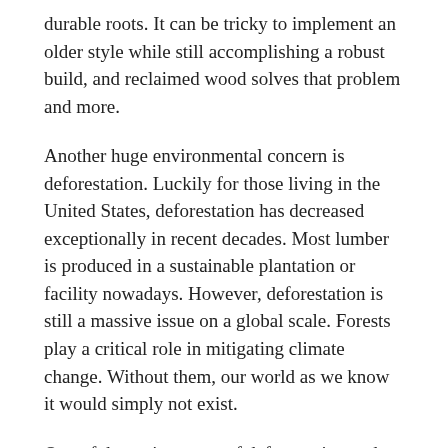durable roots. It can be tricky to implement an older style while still accomplishing a robust build, and reclaimed wood solves that problem and more.
Another huge environmental concern is deforestation. Luckily for those living in the United States, deforestation has decreased exceptionally in recent decades. Most lumber is produced in a sustainable plantation or facility nowadays. However, deforestation is still a massive issue on a global scale. Forests play a critical role in mitigating climate change. Without them, our world as we know it would simply not exist.
One of the main causes of deforestation and forest degradation is agriculture and illegal logging. In many unestablished countries, survival comes before the environment, and their ecosystems have unfortunately been destroyed due to socioeconomic factors. Forests are home to a large portion of the